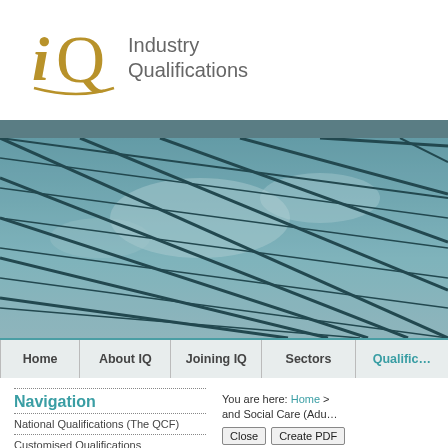[Figure (logo): Industry Qualifications logo with stylized 'iQ' letters in gold/brown and company name in grey]
[Figure (photo): Glass building facade with geometric panels reflecting sky and clouds, in teal/blue tones]
Home | About IQ | Joining IQ | Sectors | Qualific...
Navigation
National Qualifications (The QCF)
Customised Qualifications
Support Developing Qualifications
You are here: Home > ... and Social Care (Adu...
Close | Create PDF
IQ Level